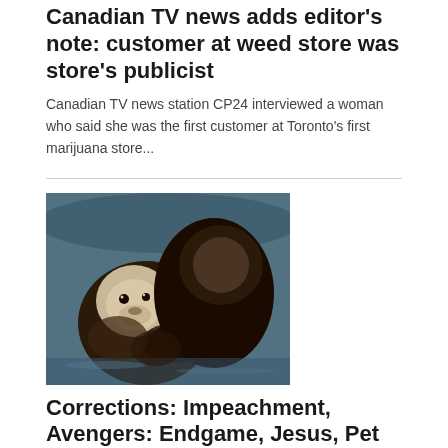Canadian TV news adds editor's note: customer at weed store was store's publicist
Canadian TV news station CP24 interviewed a woman who said she was the first customer at Toronto's first marijuana store...
[Figure (photo): Two sea otters floating in water, one appearing to hold or embrace the other]
Corrections: Impeachment, Avengers: Endgame, Jesus, Pet Otters
iMediaEthics' latest round-up of amusing or noteworthy